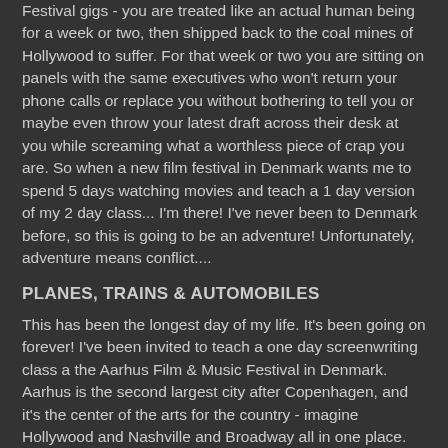Festival gigs - you are treated like an actual human being for a week or two, then shipped back to the coal mines of Hollywood to suffer. For that week or two you are sitting on panels with the same executives who won't return your phone calls or replace you without bothering to tell you or maybe even throw your latest draft across their desk at you while screaming what a worthless piece of crap you are. So when a new film festival in Denmark wants me to spend 5 days watching movies and teach a 1 day version of my 2 day class... I'm there! I've never been to Denmark before, so this is going to be an adventure! Unfortunately, adventure means conflict....
PLANES, TRAINS & AUTOMOBILES
This has been the longest day of my life. It's been going on forever! I've been invited to teach a one day screenwriting class a the Aarhus Film & Music Festival in Denmark. Aarhus is the second largest city after Copenhagen, and it's the center of the arts for the country - imagine Hollywood and Nashville and Broadway all in one place. So, the festival is giving me an all access pass, and I plan to see a bunch of